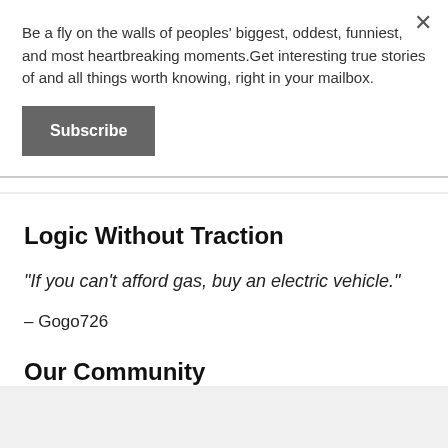Be a fly on the walls of peoples' biggest, oddest, funniest, and most heartbreaking moments.Get interesting true stories of and all things worth knowing, right in your mailbox.
Subscribe
Logic Without Traction
"If you can't afford gas, buy an electric vehicle."
– Gogo726
Our Community